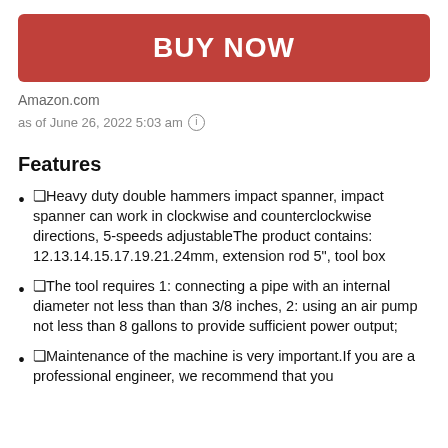[Figure (other): Red 'BUY NOW' button]
Amazon.com
as of June 26, 2022 5:03 am ⓘ
Features
❑Heavy duty double hammers impact spanner, impact spanner can work in clockwise and counterclockwise directions, 5-speeds adjustableThe product contains: 12.13.14.15.17.19.21.24mm, extension rod 5", tool box
❑The tool requires 1: connecting a pipe with an internal diameter not less than than 3/8 inches, 2: using an air pump not less than 8 gallons to provide sufficient power output;
❑Maintenance of the machine is very important.If you are a professional engineer, we recommend that you